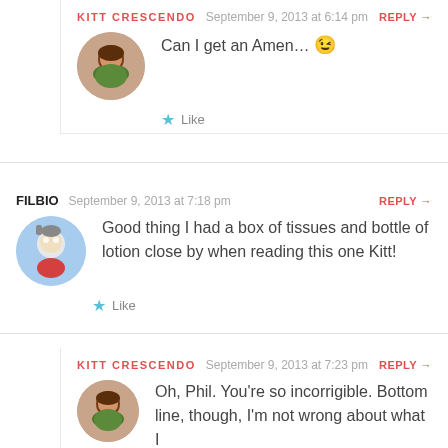KITT CRESCENDO  September 9, 2013 at 6:14 pm  REPLY →
Can I get an Amen... 😉
Like
FILBIO  September 9, 2013 at 7:18 pm  REPLY →
Good thing I had a box of tissues and bottle of lotion close by when reading this one Kitt!
Like
KITT CRESCENDO  September 9, 2013 at 7:23 pm  REPLY →
Oh, Phil. You're so incorrigible. Bottom line, though, I'm not wrong about what I